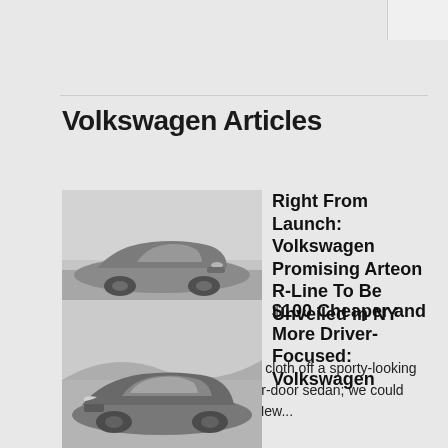Volkswagen Articles
[Figure (photo): Volkswagen Arteon R-Line sedan parked on cobblestone, front three-quarter view, silver/grey color, black and white toned photo]
Right From Launch: Volkswagen Promising Arteon R-Line To Be Unveiled in NY
March 22, 2018
Volkswagen is going to pull the cloth off a sporty-looking R-Line package of its Arteon four-door sedan; we could observe it in its full glory at the New...
READ MORE
[Figure (photo): Volkswagen sedan in dark grey, front three-quarter view, snowy/overcast background, black and white toned photo]
$100 Cheaper and More Driver-Focused: Volkswagen